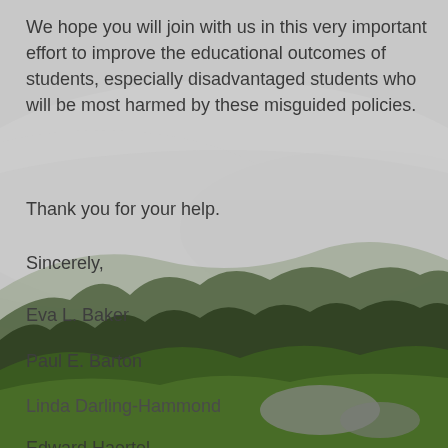We hope you will join with us in this very important effort to improve the educational outcomes of students, especially disadvantaged students who will be most harmed by these misguided policies.
Thank you for your help.
Sincerely,
Eva L. Baker
Paul E. Barton
Linda Darling-Hammond
Edward Haertel
Helen F. Ladd
Robert L. Linn
Diane Ravitch
[Figure (photo): Background photo of a misty mountain landscape with green forest trees and low-hanging clouds over hills]